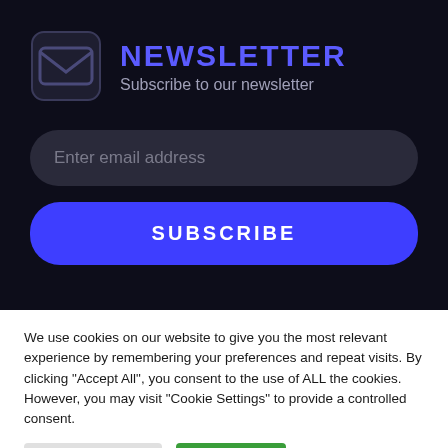NEWSLETTER
Subscribe to our newsletter
Enter email address
SUBSCRIBE
We use cookies on our website to give you the most relevant experience by remembering your preferences and repeat visits. By clicking "Accept All", you consent to the use of ALL the cookies. However, you may visit "Cookie Settings" to provide a controlled consent.
Cookie Settings
Accept All